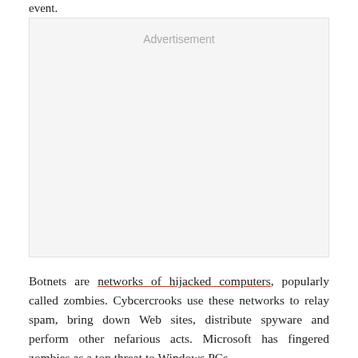event.
[Figure (other): Advertisement placeholder box with light gray background and 'Advertisement' label at the top center]
Botnets are networks of hijacked computers, popularly called zombies. Cybcercrooks use these networks to relay spam, bring down Web sites, distribute spyware and perform other nefarious acts. Microsoft has fingered zombies as a top threat to Windows PCs.